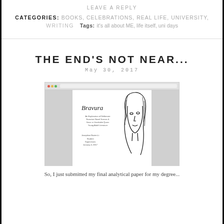LEAVE A REPLY
CATEGORIES: BOOKS, CELEBRATIONS, REAL LIFE, UNIVERSITY, WRITING  Tags: it's all about ME, life itself, uni days
THE END'S NOT NEAR...
May 30, 2017
[Figure (screenshot): Screenshot of a document cover page showing 'Bravura' title with a stylized line-drawing of a woman's face, with browser chrome including red/yellow/green dots and URL bar.]
So, I just submitted my final analytical paper for my degree...